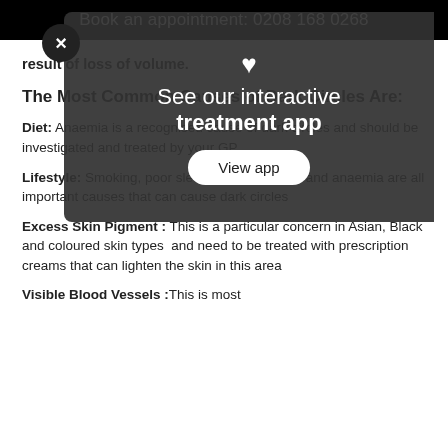Book an appointment: 0208 168 0268
result of loss of volume.
The Most Common Causes of Dark Circles Are:
Diet: Anaemia is a recognised cause of dark circles and should be investigated and treated by your GP
Lifestyle: Smoking, poor sleep, poor hydration and anaemia are all important causes that can cause dark circles
Excess Skin Pigment : This is a particular concern in Asian, Black and coloured skin types and need to be treated with prescription creams that can lighten the skin in this area
Visible Blood Vessels :This is most
[Figure (other): Semi-transparent dark overlay popup with a heart icon, text 'See our interactive treatment app', and a 'View app' button. A close (X) button appears on the left edge of the overlay.]